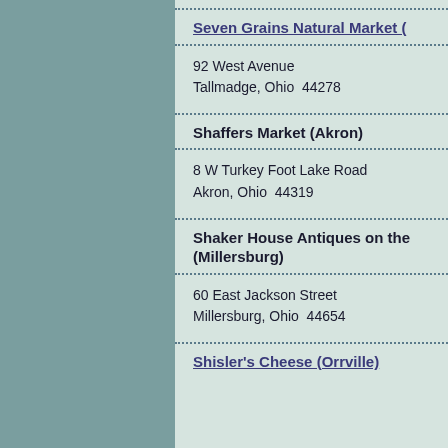Seven Grains Natural Market (
92 West Avenue
Tallmadge, Ohio  44278
Shaffers Market (Akron)
8 W Turkey Foot Lake Road
Akron, Ohio  44319
Shaker House Antiques on the (Millersburg)
60 East Jackson Street
Millersburg, Ohio  44654
Shisler's Cheese (Orrville)